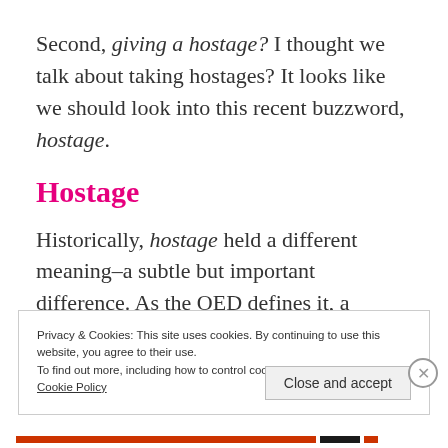Second, giving a hostage? I thought we talk about taking hostages? It looks like we should look into this recent buzzword, hostage.
Hostage
Historically, hostage held a different meaning–a subtle but important difference. As the OED defines it, a hostage denoted a:
Privacy & Cookies: This site uses cookies. By continuing to use this website, you agree to their use.
To find out more, including how to control cookies, see here:
Cookie Policy